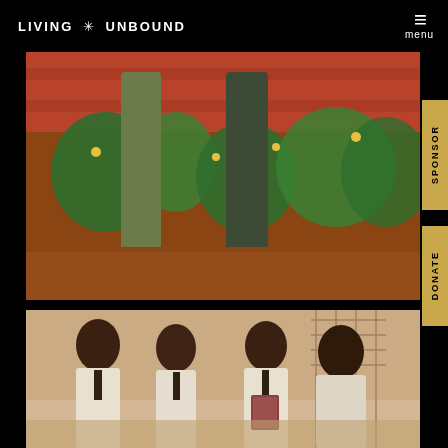LIVING * UNBOUND | menu
[Figure (photo): Close-up photo of two people's legs and feet standing in dirt with green plants and red brick wall behind them]
[Figure (photo): Photo of four African students in school uniforms (white shirts/ties) standing together, one holding a small book or card]